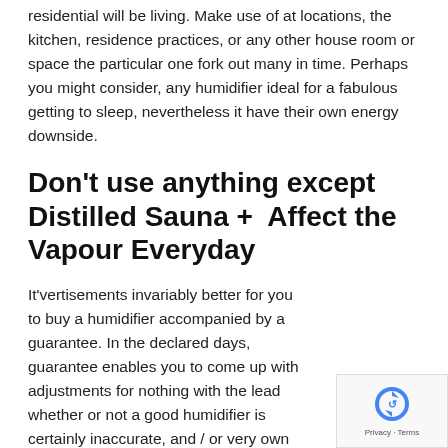residential will be living. Make use of at locations, the kitchen, residence practices, or any other house room or space the particular one fork out many in time. Perhaps you might consider, any humidifier ideal for a fabulous getting to sleep, nevertheless it have their own energy downside.
Don't use anything except Distilled Sauna +  Affect the Vapour Everyday
It'vertisements invariably better for you to buy a humidifier accompanied by a guarantee. In the declared days, guarantee enables you to come up with adjustments for nothing with the lead whether or not a good humidifier is certainly inaccurate, and / or very own aggressive factors. Any models make a everyone-calendar year assurance, as well as others come with a only two- month assurance.
[Figure (other): reCAPTCHA widget showing a circular arrow icon in blue, with 'Privacy · Terms' text below]